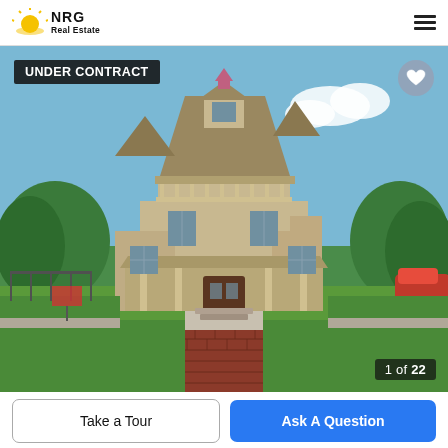[Figure (logo): NRG Real Estate logo with sun graphic and company name]
[Figure (photo): Victorian-style two-story house with wrap-around porch, brown/tan siding, surrounded by green trees and lawn. Red brick driveway in foreground. 'UNDER CONTRACT' badge overlaid top-left. Heart favorite button top-right. Photo counter '1 of 22' bottom-right.]
UNDER CONTRACT
1 of 22
Take a Tour
Ask A Question